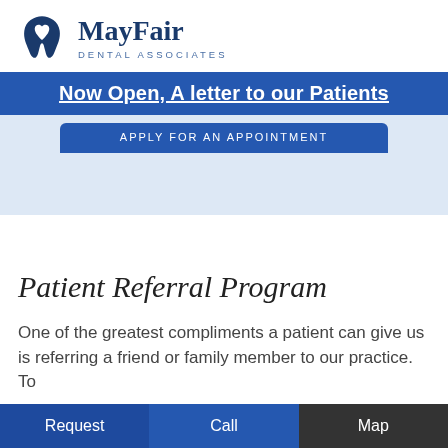[Figure (logo): MayFair Dental Associates logo with tooth icon in dark blue]
Now Open, A letter to our Patients
[Figure (screenshot): Partially visible blue appointment button: APPLY FOR AN APPOINTMENT]
Patient Referral Program
One of the greatest compliments a patient can give us is referring a friend or family member to our practice. To
Request  Call  Map